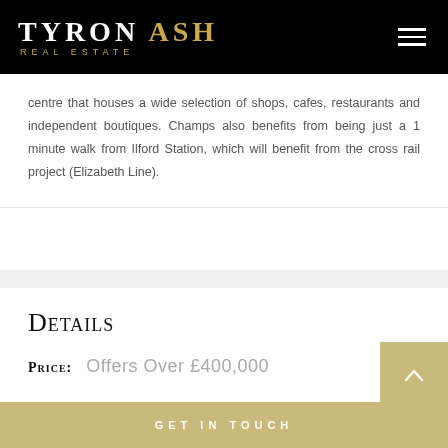TYRON ASH REAL ESTATE
centre that houses a wide selection of shops, cafes, restaurants and independent boutiques. Champs also benefits from being just a 1 minute walk from Ilford Station, which will benefit from the cross rail project (Elizabeth Line).
Details
Price: Offers Over £400,000
GET IN TOUCH